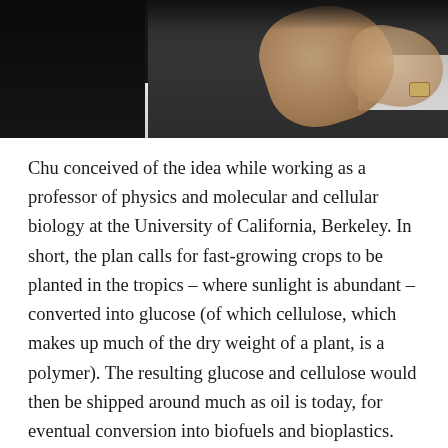[Figure (photo): Photograph of a man in a dark suit and patterned tie, with a hand visible in the upper right area of the frame. The image is cropped showing the torso and gesturing hands.]
Chu conceived of the idea while working as a professor of physics and molecular and cellular biology at the University of California, Berkeley. In short, the plan calls for fast-growing crops to be planted in the tropics – where sunlight is abundant – converted into glucose (of which cellulose, which makes up much of the dry weight of a plant, is a polymer). The resulting glucose and cellulose would then be shipped around much as oil is today, for eventual conversion into biofuels and bioplastics.
As expected, this would render the current system of converting oil into gasoline and plastics – a process which produces immense amounts of